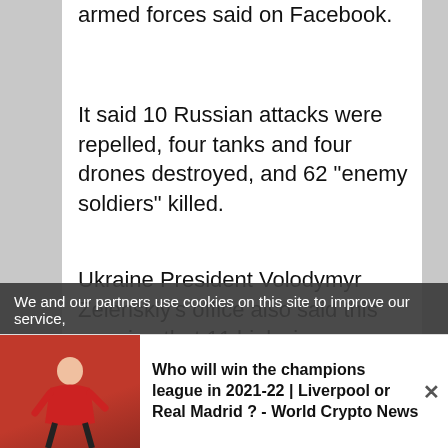armed forces said on Facebook.
It said 10 Russian attacks were repelled, four tanks and four drones destroyed, and 62 "enemy soldiers" killed.
Ukraine President Volodymyr Zelenskiy's office also said this morning that 11 high-rise buildings were destroyed in Sievierodonetsk, and eight in Lysychansk.
Milica CosicToday, 08:30
We and our partners use cookies on this site to improve our service,
Donbas separatist leader calls for...
Who will win the champions league in 2021-22 | Liverpool or Real Madrid ? - World Crypto News